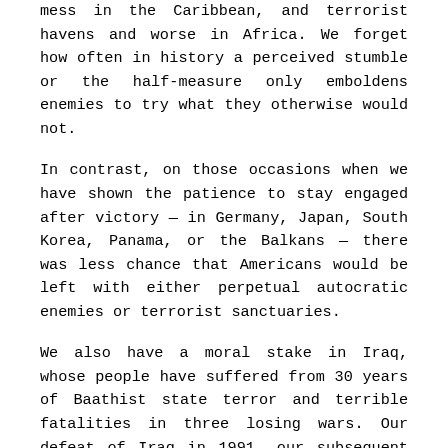mess in the Caribbean, and terrorist havens and worse in Africa. We forget how often in history a perceived stumble or the half-measure only emboldens enemies to try what they otherwise would not.
In contrast, on those occasions when we have shown the patience to stay engaged after victory — in Germany, Japan, South Korea, Panama, or the Balkans — there was less chance that Americans would be left with either perpetual autocratic enemies or terrorist sanctuaries.
We also have a moral stake in Iraq, whose people have suffered from 30 years of Baathist state terror and terrible fatalities in three losing wars. Our defeat of Iraq in 1991, our subsequent abandonment of the Kurds and Shiites to a wounded Saddam Hussein, twelve years of occupying Iraqi airspace, the corrupt U.N. embargo, and the recent final defeat of the Baathists brought untold misery to the Iraqi people.
In contrast, for the last year and a half, the United States